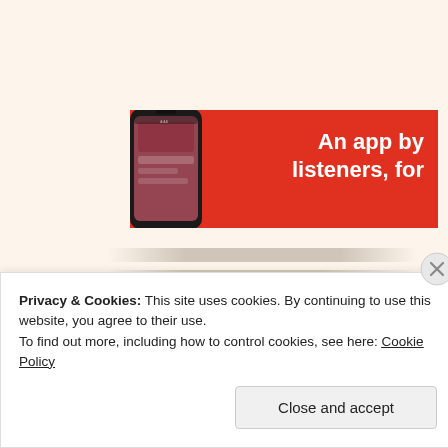[Figure (screenshot): Red advertising banner showing a smartphone displaying an app interface, with white bold text reading 'An app by listeners, for']
Privacy & Cookies: This site uses cookies. By continuing to use this website, you agree to their use.
To find out more, including how to control cookies, see here: Cookie Policy
Close and accept